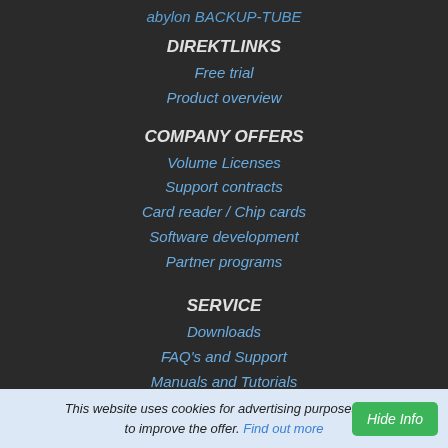abylon BACKUP-TUBE
DIREKTLINKS
Free trial
Product overview
COMPANY OFFERS
Volume Licenses
Support contracts
Card reader / Chip cards
Software development
Partner programs
SERVICE
Downloads
FAQ's and Support
Manuals and Tutorials
Version history
New offers daily
This website uses cookies for advertising purposes and to improve the offer. Find out more